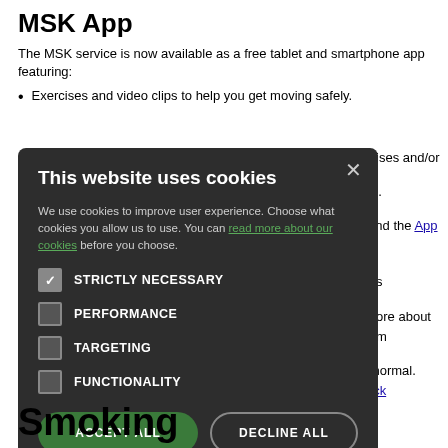MSK App
The MSK service is now available as a free tablet and smartphone app featuring:
Exercises and video clips to help you get moving safely.
ercises and/or
ess.
and the App
n as
more about them
to normal. Click
[Figure (screenshot): Cookie consent modal overlay on a medical website. Dark background modal with title 'This website uses cookies', body text about cookie usage with a green link 'read more about our cookies', checkboxes for STRICTLY NECESSARY (checked), PERFORMANCE, TARGETING, FUNCTIONALITY, and two buttons: ACCEPT ALL (green) and DECLINE ALL (outline).]
Smoking